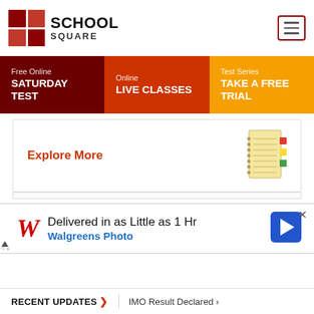[Figure (logo): School Square logo with red grid squares and text SCHOOL SQUARE]
[Figure (illustration): Hamburger menu button with three horizontal lines inside a bordered box]
Free Online SATURDAY TEST
Online LIVE CLASSES
Test Series TAKE A FREE TRIAL
Explore More
[Figure (illustration): Notebook with colored tab dividers icon]
[Figure (screenshot): Walgreens advertisement: Delivered in as Little as 1 Hr, Walgreens Photo, with Walgreens W logo and navigation arrow icon]
RECENT UPDATES > IMO Result Declared